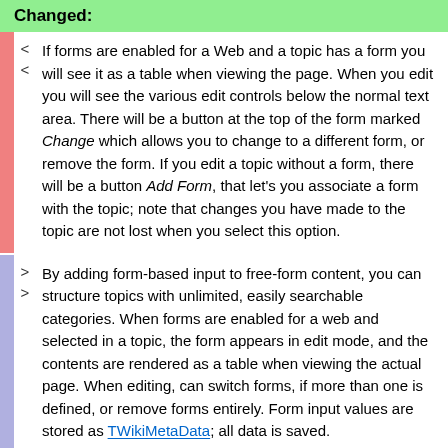Changed:
If forms are enabled for a Web and a topic has a form you will see it as a table when viewing the page. When you edit you will see the various edit controls below the normal text area. There will be a button at the top of the form marked Change which allows you to change to a different form, or remove the form. If you edit a topic without a form, there will be a button Add Form, that let's you associate a form with the topic; note that changes you have made to the topic are not lost when you select this option.
By adding form-based input to free-form content, you can structure topics with unlimited, easily searchable categories. When forms are enabled for a web and selected in a topic, the form appears in edit mode, and the contents are rendered as a table when viewing the actual page. When editing, can switch forms, if more than one is defined, or remove forms entirely. Form input values are stored as TWikiMetaData; all data is saved.